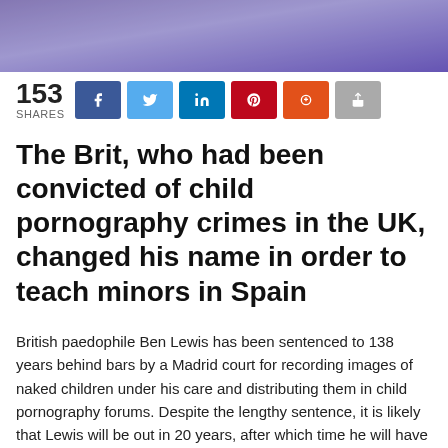[Figure (photo): Purple/blue toned photo at top of article]
153 SHARES
The Brit, who had been convicted of child pornography crimes in the UK, changed his name in order to teach minors in Spain
British paedophile Ben Lewis has been sentenced to 138 years behind bars by a Madrid court for recording images of naked children under his care and distributing them in child pornography forums. Despite the lengthy sentence, it is likely that Lewis will be out in 20 years, after which time he will have to participate in sexual education